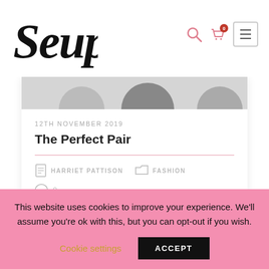[Figure (logo): Seuple handwritten script logo in black]
[Figure (screenshot): Blog post card with grey image strip showing partial circular thumbnails]
12TH NOVEMBER 2019
The Perfect Pair
HARRIET PATTISON   FASHION   0
This website uses cookies to improve your experience. We'll assume you're ok with this, but you can opt-out if you wish.
Cookie settings   ACCEPT